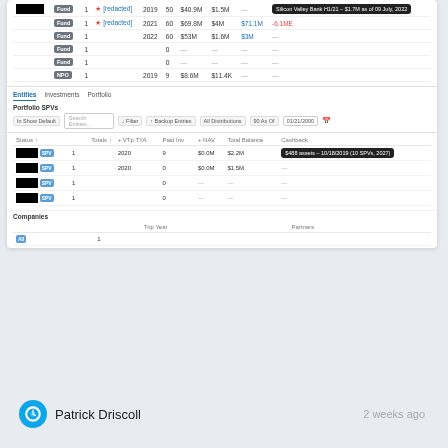| Status |  | Name | Year | N | Paid Amt | Net | Total Balance | Returns |
| --- | --- | --- | --- | --- | --- | --- | --- | --- |
| Fund | 1 | [redacted] | 2019 | 50 | $40.9M | $1.5M | — | — Silicon Valley Bank H1/21 – $1.7M as of 09 July, 2022 |
| Fund | 1 | [redacted] | 2021 | 60 | $69.8M | $4M | $71.1M | -6.1ME |
| Fund | 1 |  | 2022 | 60 | $53M | $1.6M | $3M | — |
| Fund | 1 |  |  | 0 | — | — | — | — |
| Fund | 1 |  |  | 0 | — | — | — | — |
| NPO | 1 |  | 2019 | 9 | $8.6M | $11.4K | — | — |
Entities | Investments | Portfolio
Portfolio SPVs
| Status |  | Year | Num Inv | - NAV | Total Balance | Checkbox |
| --- | --- | --- | --- | --- | --- | --- |
| SPV | 1 | 2020 | 9 | $0.0M | $2.2M | [tooltip] $488 assets – 10/18/2019 (10 SPVs, 2027) |
| SPV | 1 | 2020 | 0 | $0.0M | $1.5M | — |
| SPV | 1 |  | 0 | — | — | — |
| SPV | 1 |  | 0 | — | — | — |
Companies
|  |  | Trip Year | Partners |
| --- | --- | --- | --- |
| All | 1 |  |  |
Patrick Driscoll
2 weeks ago